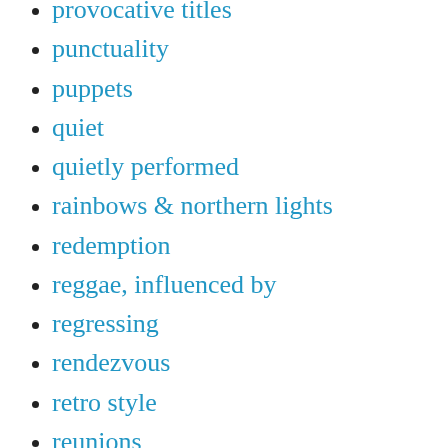provocative titles
punctuality
puppets
quiet
quietly performed
rainbows & northern lights
redemption
reggae, influenced by
regressing
rendezvous
retro style
reunions
rhythm, beat or boogie
road trips
roses
sales